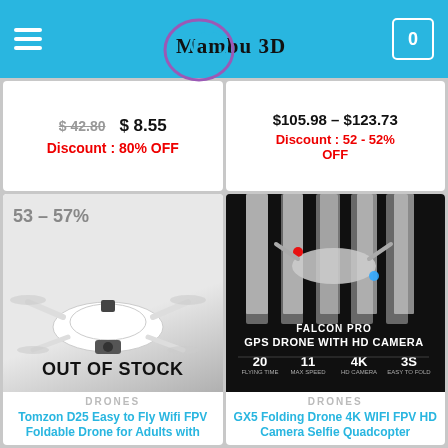Mambu 3D
$42.80  $8.55
Discount : 80% OFF
$105.98 – $123.73
Discount : 52 - 52% OFF
[Figure (photo): White foldable drone product photo with OUT OF STOCK overlay and 53-57% discount badge]
[Figure (photo): Falcon Pro GPS Drone with HD Camera product promotional image showing specs: 20min flying time, 11kn max speed, 4K HD camera, 3S easy to fold]
DRONES
Tomzon D25 Easy to Fly Wifi FPV Foldable Drone for Adults with
DRONES
GX5 Folding Drone 4K WIFI FPV HD Camera Selfie Quadcopter